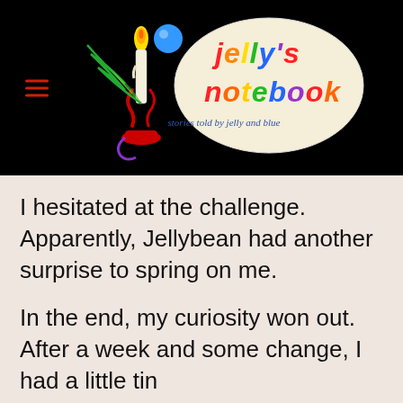[Figure (logo): Jelly's Notebook logo on black background: a colorful illustrated candle/quill pen with a blue sphere, alongside an oval containing the text "jelly's notebook" in multicolored letters and subtitle "stories told by jelly and blue" in cursive. A hamburger menu icon is at the left.]
I hesitated at the challenge. Apparently, Jellybean had another surprise to spring on me.
In the end, my curiosity won out. After a week and some change, I had a little tin